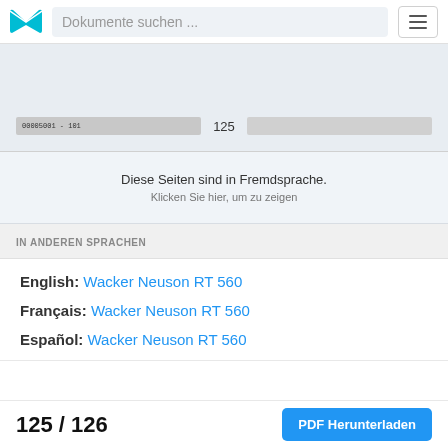Dokumente suchen ...
[Figure (screenshot): Document viewer showing page bar with code 00005001-101, page 125 of document, and a gray progress bar on the right]
Diese Seiten sind in Fremdsprache. Klicken Sie hier, um zu zeigen
IN ANDEREN SPRACHEN
English: Wacker Neuson RT 560
Français: Wacker Neuson RT 560
Español: Wacker Neuson RT 560
125 / 126    PDF Herunterladen